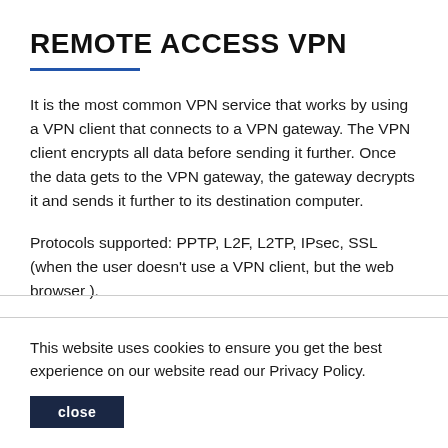REMOTE ACCESS VPN
It is the most common VPN service that works by using a VPN client that connects to a VPN gateway. The VPN client encrypts all data before sending it further. Once the data gets to the VPN gateway, the gateway decrypts it and sends it further to its destination computer.
Protocols supported: PPTP, L2F, L2TP, IPsec, SSL (when the user doesn't use a VPN client, but the web browser ).
This website uses cookies to ensure you get the best experience on our website read our Privacy Policy.
close